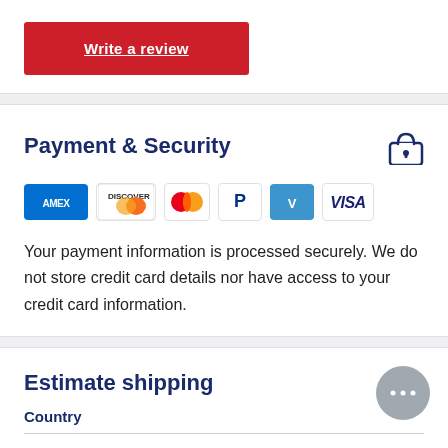Write a review
Payment & Security
[Figure (infographic): Payment method logos: Amex, Discover, Mastercard, PayPal, Venmo, Visa]
Your payment information is processed securely. We do not store credit card details nor have access to your credit card information.
Estimate shipping
Country